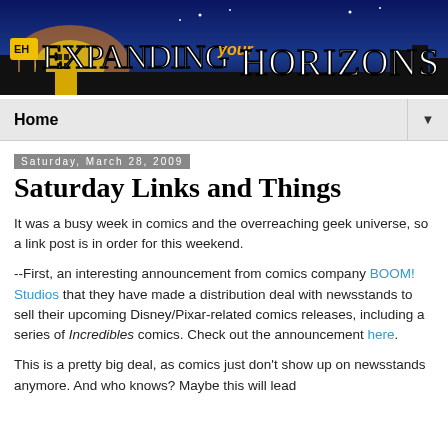[Figure (illustration): Expanding Your Horizons blog banner with stylized cityscape and title text in a dark blue/orange color scheme]
Home ▼
Saturday, March 28, 2009
Saturday Links and Things
It was a busy week in comics and the overreaching geek universe, so a link post is in order for this weekend.
--First, an interesting announcement from comics company BOOM! Studios that they have made a distribution deal with newsstands to sell their upcoming Disney/Pixar-related comics releases, including a series of Incredibles comics. Check out the announcement here.
This is a pretty big deal, as comics just don't show up on newsstands anymore. And who knows? Maybe this will lead